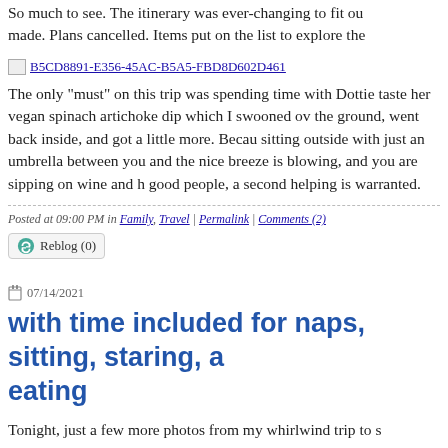So much to see. The itinerary was ever-changing to fit out made. Plans cancelled. Items put on the list to explore the
[Figure (other): Broken image link placeholder with URL text: B5CD8891-E356-45AC-B5A5-FBD8D602D461]
The only "must" on this trip was spending time with Dottie taste her vegan spinach artichoke dip which I swooned ov the ground, went back inside, and got a little more. Becau sitting outside with just an umbrella between you and the nice breeze is blowing, and you are sipping on wine and h good people, a second helping is warranted.
Posted at 09:00 PM in Family, Travel | Permalink | Comments (2)
Reblog (0)
07/14/2021
with time included for naps, sitting, staring, a eating
Tonight, just a few more photos from my whirlwind trip to s